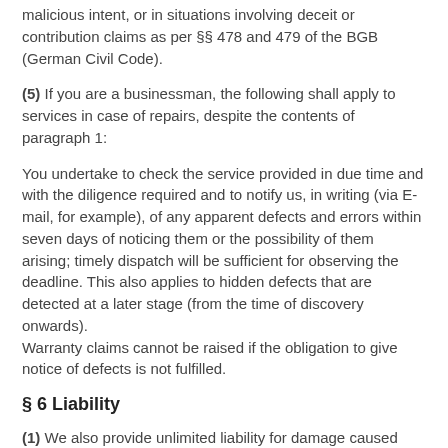malicious intent, or in situations involving deceit or contribution claims as per §§ 478 and 479 of the BGB (German Civil Code).
(5) If you are a businessman, the following shall apply to services in case of repairs, despite the contents of paragraph 1:
You undertake to check the service provided in due time and with the diligence required and to notify us, in writing (via E-mail, for example), of any apparent defects and errors within seven days of noticing them or the possibility of them arising; timely dispatch will be sufficient for observing the deadline. This also applies to hidden defects that are detected at a later stage (from the time of discovery onwards).
Warranty claims cannot be raised if the obligation to give notice of defects is not fulfilled.
§ 6 Liability
(1) We also provide unlimited liability for damage caused due to the violation of life, limb or health. Furthermore, we provide liability without limitation in all cases of intent and gross negligence, if a defect is fraudulently concealed, in case of assumption of guarantee for the procurement of the object of purchase and in all other legally regulated cases.
(2) Liability for damage other than personal injury resulting related